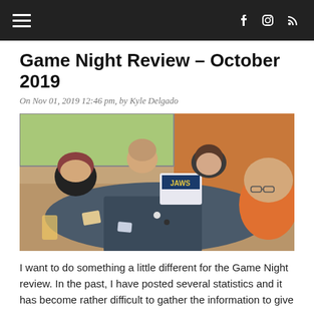Navigation bar with hamburger menu and social icons (Facebook, Instagram, RSS)
Game Night Review – October 2019
On Nov 01, 2019 12:46 pm, by Kyle Delgado
[Figure (photo): Four people sitting around a table playing the Jaws board game at what appears to be a bar or restaurant. One person wears a red beanie hat, another wears an orange shirt. A Jaws game box is visible on the table.]
I want to do something a little different for the Game Night review. In the past, I have posted several statistics and it has become rather difficult to gather the information to give accurate facts about the current Game Night